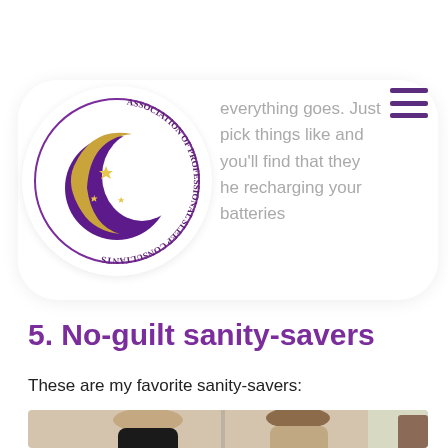[Figure (logo): Association of Professional Sleep Consultants circular logo with purple crescent moon and gold stars on dark purple background, surrounded by text around the circle border]
everything goes. Just pick things like and you'll find that they he recharging your batteries
5. No-guilt sanity-savers
These are my favorite sanity-savers:
[Figure (photo): Two women sitting together, one with long blonde hair in dark clothing, the other with brown hair and bangs, appearing to look at something together, likely a baby]